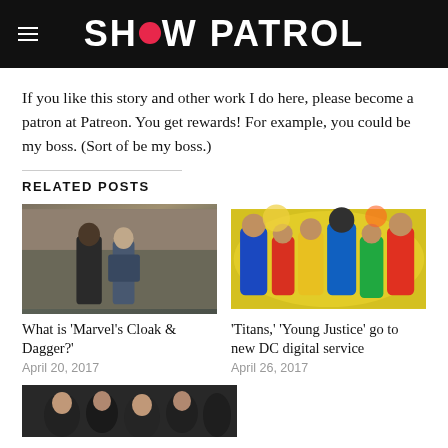SHOW PATROL
If you like this story and other work I do here, please become a patron at Patreon. You get rewards! For example, you could be my boss. (Sort of be my boss.)
RELATED POSTS
[Figure (photo): Two people (man and woman) standing against a concrete wall, promotional photo for Marvel's Cloak & Dagger]
What is 'Marvel's Cloak & Dagger?'
April 20, 2017
[Figure (illustration): Colorful comic book illustration of DC superheroes including Titans and Young Justice characters]
'Titans,' 'Young Justice' go to new DC digital service
April 26, 2017
[Figure (photo): Partial view of another related post image at the bottom of the page]